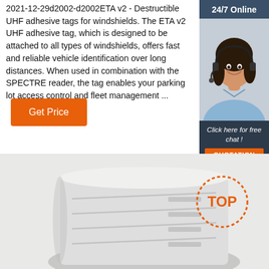2021-12-29d2002-d2002ETA v2 - Destructible UHF adhesive tags for windshields. The ETA v2 UHF adhesive tag, which is designed to be attached to all types of windshields, offers fast and reliable vehicle identification over long distances. When used in combination with the SPECTRE reader, the tag enables your parking lot access control and fleet management ...
Get Price
[Figure (photo): Online chat widget sidebar with '24/7 Online' header, photo of a smiling woman with headset, 'Click here for free chat!' text, and orange QUOTATION button]
[Figure (photo): Product photo of a roll of white UHF adhesive RFID tags with a TOP badge overlay in the bottom right corner]